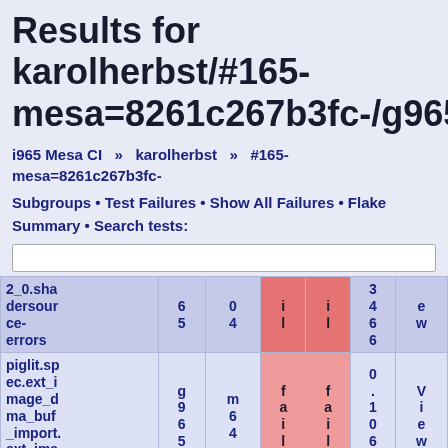Results for karolherbst/#165-mesa=8261c267b3fc-/g965/root:
i965 Mesa CI » karolherbst » #165-mesa=8261c267b3fc-
Subgroups • Test Failures • Show All Failures • Flake Summary • Search tests:
| Name |  |  | fail | fail | time |  |
| --- | --- | --- | --- | --- | --- | --- |
| 2_0.sha dersour ce- errors | 6 5 | 0 4 | i l | i l | 3 4 6 6 | e w |
| piglit.sp ec.ext_i mage_d ma_buf _import. ext_ima ge_dma | g 9 6 5 | m 6 4 | f a i l | f a i l | 0 . 1 0 6 5 | V i e w |